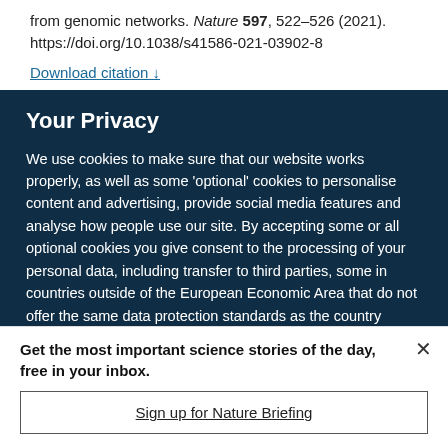from genomic networks. Nature 597, 522–526 (2021). https://doi.org/10.1038/s41586-021-03902-8
Download citation ↓
Your Privacy
We use cookies to make sure that our website works properly, as well as some 'optional' cookies to personalise content and advertising, provide social media features and analyse how people use our site. By accepting some or all optional cookies you give consent to the processing of your personal data, including transfer to third parties, some in countries outside of the European Economic Area that do not offer the same data protection standards as the country where you live. You can decide which optional cookies to accept by clicking on 'Manage Settings', where you can
Get the most important science stories of the day, free in your inbox.
Sign up for Nature Briefing